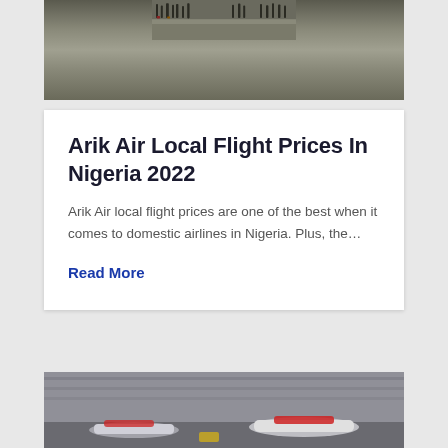[Figure (photo): People standing on airport tarmac with luggage, blurred background showing runway]
Arik Air Local Flight Prices In Nigeria 2022
Arik Air local flight prices are one of the best when it comes to domestic airlines in Nigeria. Plus, the…
Read More
[Figure (photo): Airport terminal with planes on tarmac, including red and white aircraft, blurred image]